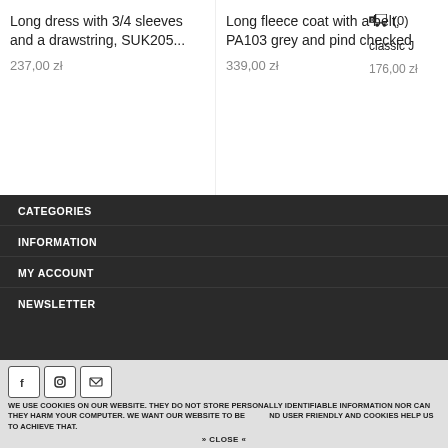Long dress with 3/4 sleeves and a drawstring, SUK205...
237,00 zł
Long fleece coat with a belt, PA103 grey and pind checked
339,00 zł
Classic J
176,00 zł
CATEGORIES
INFORMATION
MY ACCOUNT
NEWSLETTER
Sign up and be the first to know!
WE USE COOKIES ON OUR WEBSITE. THEY DO NOT STORE PERSONALLY IDENTIFIABLE INFORMATION NOR CAN THEY HARM YOUR COMPUTER. WE WANT OUR WEBSITE TO BE AND USER FRIENDLY AND COOKIES HELP US TO ACHIEVE THAT.
» CLOSE «